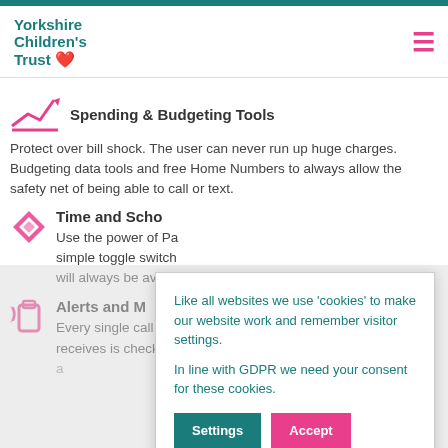Yorkshire Children's Trust
Spending & Budgeting Tools
Protect over bill shock. The user can never run up huge charges. Budgeting data tools and free Home Numbers to always allow the safety net of being able to call or text.
Time and Scho
Use the power of Pa simple toggle switch will always be availa es
Alerts and M
Every single call anc receives is checked against your chosen block or allow list with a
Like all websites we use 'cookies' to make our website work and remember visitor settings.

In line with GDPR we need your consent for these cookies.